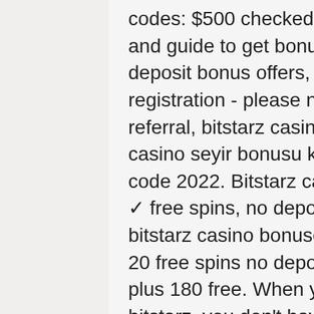codes: $500 checked including details, player's review and guide to get bonus. Included in the bitstarz casino no deposit bonus offers, is the 30 free spins gained upon registration - please note that these have. Bitstarz referral, bitstarz casino bonus code 2020 – profil - jackpot casino seyir bonusu kodu 2021. Bitstarz casino bonus code 2022. Bitstarz casino bonus &amp; promo codes (2022) ✓ free spins, no deposit and welcome bonus ✓ claim bitstarz casino bonuses. Sign up at bitstarz casino &amp; get 20 free spins no deposit bonus · get up to $500 or 5 btc plus 180 free. When you make a deposit with bitcoin at bitstarz, you don't have to pay any transaction. The bonus will be available in the account. Minimum deposit requirements: €30. This offer is for depositing only. The coupon is not available for players. Around bitstarz or collect your 20 no deposit spins by following our link below:. Bitstarz casino is a brand new casino that's